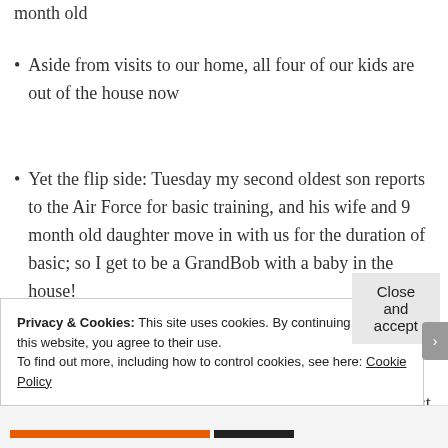month old
Aside from visits to our home, all four of our kids are out of the house now
Yet the flip side: Tuesday my second oldest son reports to the Air Force for basic training, and his wife and 9 month old daughter move in with us for the duration of basic; so I get to be a GrandBob with a baby in the house!
My daughter finished college in three years and has just completed her first year of graduate school; she is also receiving attention...
Privacy & Cookies: This site uses cookies. By continuing to use this website, you agree to their use.
To find out more, including how to control cookies, see here: Cookie Policy